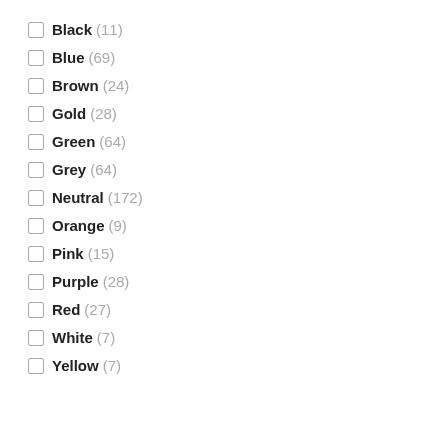Black (11)
Blue (69)
Brown (24)
Gold (28)
Green (64)
Grey (64)
Neutral (172)
Orange (9)
Pink (15)
Purple (28)
Red (27)
White (7)
Yellow (7)